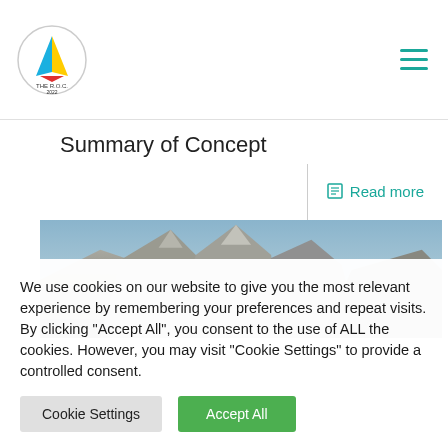[Figure (logo): Circular sailing club logo with colorful sail graphic and text 'THE R.O.C. 2022']
Summary of Concept
Read more
[Figure (photo): Panoramic photo of rocky mountain peaks against a blue sky]
We use cookies on our website to give you the most relevant experience by remembering your preferences and repeat visits. By clicking "Accept All", you consent to the use of ALL the cookies. However, you may visit "Cookie Settings" to provide a controlled consent.
Cookie Settings | Accept All